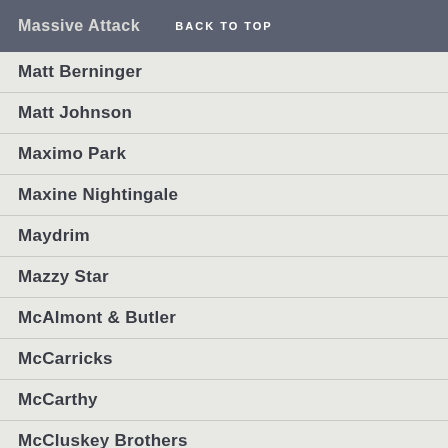Massive Attack  BACK TO TOP
Matt Berninger
Matt Johnson
Maximo Park
Maxine Nightingale
Maydrim
Mazzy Star
McAlmont & Butler
McCarricks
McCarthy
McCluskey Brothers
Meat Whiplash
Mega City Four